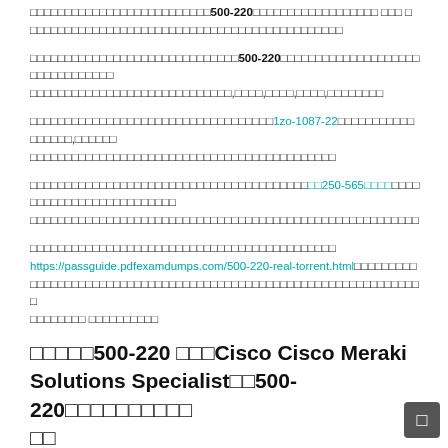□□□□□□□□□□□□□□□□□□□□□□□□□□500-220□□□□□□□□□□□□□□□□□□ □□□ □□□□□□□□□□□□□□□□□□□□□□□□□□□□□□□□□□□□□□□□□
□□□□□□□□□□□□□□□□□□□□□□□□□□□□□□500-220□□□□□□□□□□□□□□□□□□□□□□□□□□□□□□□□□□□□□□□□□□□□□□□□□□□□□□□□□□□□□,□□□□,□□□□,□□□□,□□□□□□□□
□□□□□□□□□□□□□□□□□□□□□□□□□□□□□□□□□□□1zo-1087-22□□□□□□□□□□□□□□□□□,□□□□□□□□□□□□□□□□□□□□□□□□□□□□□□□□□□□□□□□□□□□□□□□□□□□□□
□□□□□□□□□□□□□□□□□□□□□□□□□□□□□□□□□□□□□□□□250-565□□□□□□□□□□□□□□□□□□□□□□□□□□□□□□□□□□□□□□□□□□□□□□□□□□□□□□□□□□□□□□□□
□□□□□□□□□□□□□□□□□□□□□□□□□□□□□□□□□□□□□□□□□□□□ https://passguide.pdfexamdumps.com/500-220-real-torrent.html □□□□□□□□□□□□□□□□□□□□□□□□□□□□□□□□□□□□□□□□□□□□□□□□□□□□□□□□□□□ □□□□□□□□□□□□
□□□□□500-220 □□□Cisco Cisco Meraki Solutions Specialist□□500-220□□□□□□□□□□
□□□□□□□□□□□□□□□□□□□□□□□□□□500-220□□□□□□□□□□□□□□□□□□□□□□□□